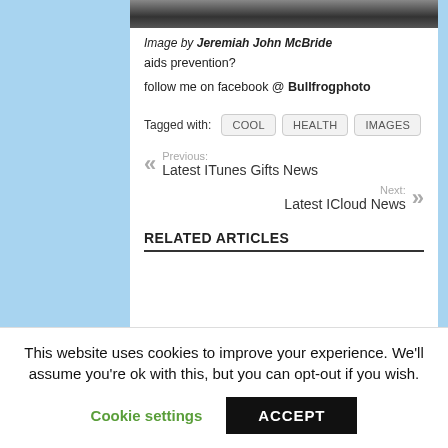[Figure (photo): Black and white photo strip at top of content area]
Image by Jeremiah John McBride
aids prevention?
follow me on facebook @ Bullfrogphoto
Tagged with: COOL  HEALTH  IMAGES
Previous: Latest ITunes Gifts News
Next: Latest ICloud News
RELATED ARTICLES
This website uses cookies to improve your experience. We'll assume you're ok with this, but you can opt-out if you wish.
Cookie settings  ACCEPT